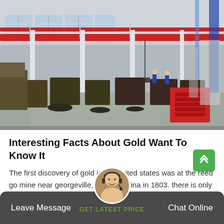[Figure (photo): Large industrial factory interior showing heavy machinery, overhead cranes with red beams, workers on the floor, and equipment arranged along a wide open floor plan under a steel-frame roof with skylights.]
Interesting Facts About Gold Want To Know It
The first discovery of gold in the united states was at the reed go mine near georgeville, north carolina in 1803. there is only one s isotope of gold. over thirty-five dioactive isotopes of gold ha…
Leave Message   GET LATEST PRICE   Chat Online